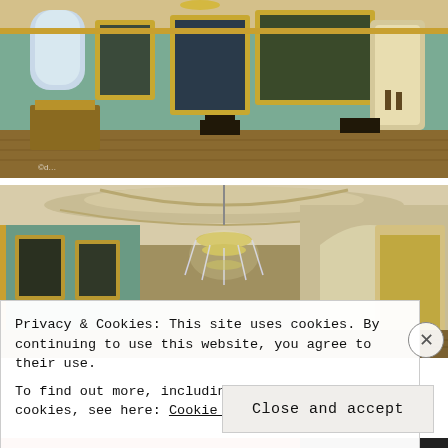[Figure (photo): Interior of an ornate baroque palace gallery with gilded frames, green walls, large oil paintings, chandeliers, and parquet floors. Visitors visible in background.]
[Figure (photo): Interior hallway of a baroque palace with ornate gilded ceiling, green walls with framed portraits, a large crystal chandelier, and arched doorways.]
Privacy & Cookies: This site uses cookies. By continuing to use this website, you agree to their use.
To find out more, including how to control cookies, see here: Cookie Policy
Close and accept